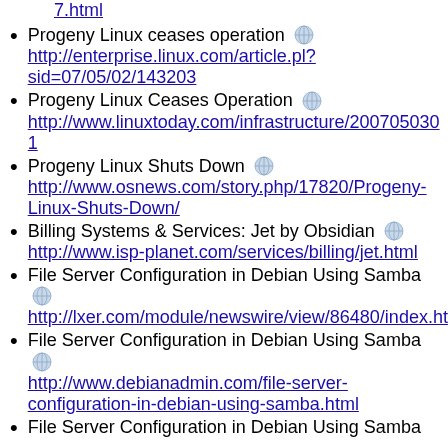7.html (link, truncated at top)
Progeny Linux ceases operation
http://enterprise.linux.com/article.pl?sid=07/05/02/143203
Progeny Linux Ceases Operation
http://www.linuxtoday.com/infrastructure/2007050301...
Progeny Linux Shuts Down
http://www.osnews.com/story.php/17820/Progeny-Linux-Shuts-Down/
Billing Systems & Services: Jet by Obsidian
http://www.isp-planet.com/services/billing/jet.html
File Server Configuration in Debian Using Samba
http://lxer.com/module/newswire/view/86480/index.ht...
File Server Configuration in Debian Using Samba
http://www.debianadmin.com/file-server-configuration-in-debian-using-samba.html
File Server Configuration in Debian Using Samba (partial, bottom)